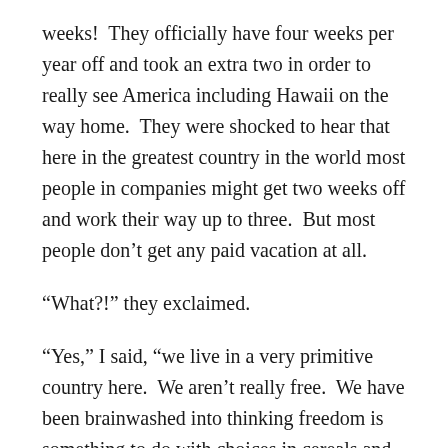weeks!  They officially have four weeks per year off and took an extra two in order to really see America including Hawaii on the way home.  They were shocked to hear that here in the greatest country in the world most people in companies might get two weeks off and work their way up to three.  But most people don’t get any paid vacation at all.
“What?!” they exclaimed.
“Yes,” I said, “we live in a very primitive country here.  We aren’t really free.  We have been brainwashed into thinking freedom is something to do with choices in cereals and having a lot of weapons to kill other people just in case they have the cheekiness to not like us very much.  Meanwhile we have few holidays or vacations where we explore other countries